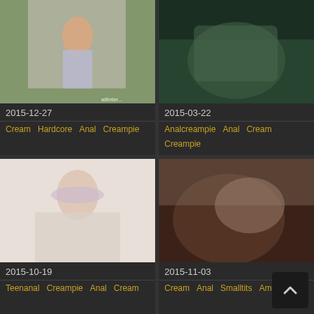[Figure (screenshot): Video thumbnail - woman in white dress outdoors]
2015-12-27
Cream  Hardcore  Anal  Creampie
[Figure (screenshot): Video thumbnail - dark close-up scene]
2015-03-22
Analcreampie  Anal  Cream  Creampie
[Figure (screenshot): Video thumbnail - woman with light purple hair]
2015-10-19
Teenanal  Creampie  Anal  Cream
[Figure (screenshot): Video thumbnail - close-up scene]
2015-11-03
Cream  Anal  Smalltits  Amateur